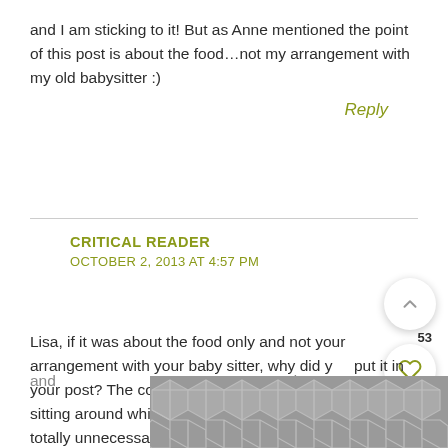and I am sticking to it! But as Anne mentioned the point of this post is about the food…not my arrangement with my old babysitter :)
Reply
CRITICAL READER
OCTOBER 2, 2013 AT 4:57 PM
Lisa, if it was about the food only and not your arrangement with your baby sitter, why did you put it in your post? The comment about how you don't accept sitting around while paying somebody by the hour was totally unnecessary and
[Figure (other): Geometric hexagonal grey pattern advertisement overlay at bottom of page]